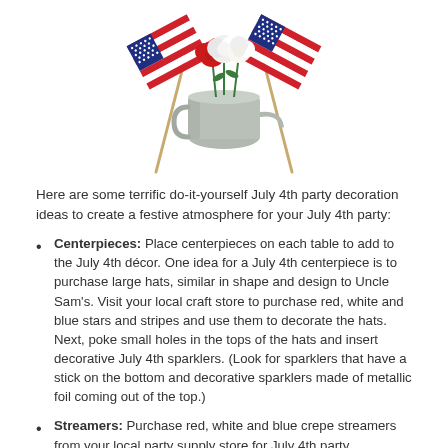[Figure (illustration): A metallic watering can with red and white carnations/peonies, flanked by two crossed American flags on wooden sticks]
Here are some terrific do-it-yourself July 4th party decoration ideas to create a festive atmosphere for your July 4th party:
Centerpieces: Place centerpieces on each table to add to the July 4th décor. One idea for a July 4th centerpiece is to purchase large hats, similar in shape and design to Uncle Sam's. Visit your local craft store to purchase red, white and blue stars and stripes and use them to decorate the hats. Next, poke small holes in the tops of the hats and insert decorative July 4th sparklers. (Look for sparklers that have a stick on the bottom and decorative sparklers made of metallic foil coming out of the top.)
Streamers: Purchase red, white and blue crepe streamers from your local party supply store for July 4th party decorations. Before unrolling the streamers, staple all of the ends together. Twist the streamers, while simultaneously attaching them to tables, chairs,